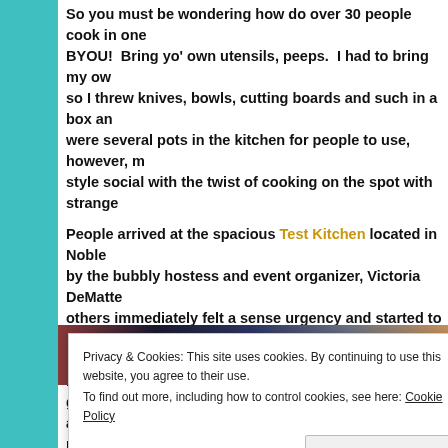So you must be wondering how do over 30 people cook in one kitchen? BYOU! Bring yo' own utensils, peeps. I had to bring my own so I threw knives, bowls, cutting boards and such in a box and... were several pots in the kitchen for people to use, however, m... style social with the twist of cooking on the spot with strange...
People arrived at the spacious Test Kitchen located in Noble... by the bubbly hostess and event organizer, Victoria DeMatte... others immediately felt a sense urgency and started to prep t... provided VIPs (those who bought tickets early like me) one i... golden beets, asparagus, fish filets, chicken thighs and more.... mangoes to prepare mango salsa.
[Figure (photo): A horizontal photo strip showing people at a cooking event, partially obscured by a cookie consent banner overlay.]
Privacy & Cookies: This site uses cookies. By continuing to use this website, you agree to their use.
To find out more, including how to control cookies, see here: Cookie Policy
Close and accept